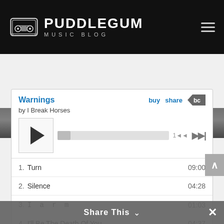PUDDLEGUM MUSIC BLOG
[Figure (screenshot): Black and white photo strip of a person, partially visible]
Warnings
by I Break Horses
[Figure (other): Music player controls: play button, progress bar, time display, skip button]
1. Turn  09:00
2. Silence  04:28
3. I a r m  01:03
4. I'll Be The Death Of You  04:37
5. d e n l i l l a p å s e a v l y c k a  01:59
6. The Prophet  05:41
Share This